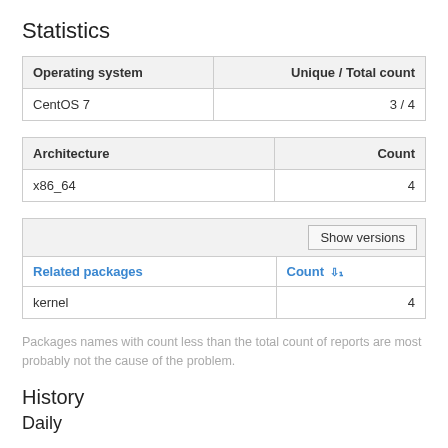Statistics
| Operating system | Unique / Total count |
| --- | --- |
| CentOS 7 | 3 / 4 |
| Architecture | Count |
| --- | --- |
| x86_64 | 4 |
| Related packages | Count |
| --- | --- |
| kernel | 4 |
Packages names with count less than the total count of reports are most probably not the cause of the problem.
History
Daily